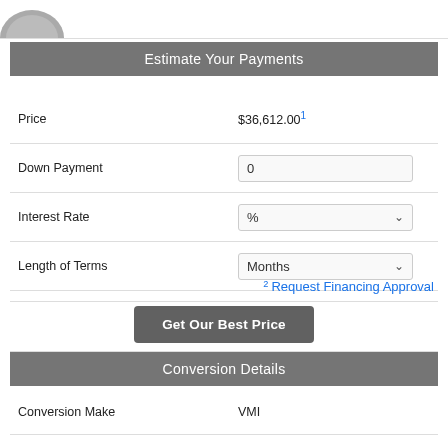[Figure (logo): Partial circular logo/image at top left, cropped]
Estimate Your Payments
| Field | Value |
| --- | --- |
| Price | $36,612.001 |
| Down Payment | 0 |
| Interest Rate | % |
| Length of Terms | Months |
2 Request Financing Approval
Get Our Best Price
Conversion Details
| Field | Value |
| --- | --- |
| Conversion Make | VMI |
| Conversion Model | VMI Northstar |